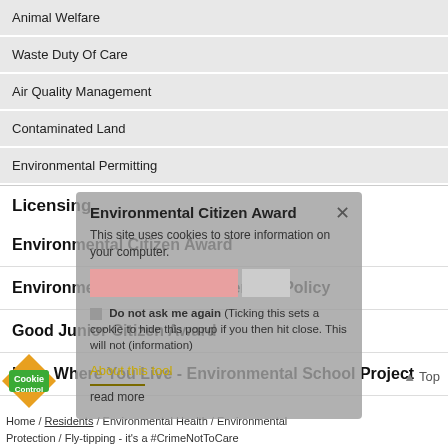Animal Welfare
Waste Duty Of Care
Air Quality Management
Contaminated Land
Environmental Permitting
Licensing
Environmental Citizen Award
Environmental Health Enforcement Policy
Good Junior Citizen Award
Love Where You Live - Environmental School Project
Private Sector Housing
[Figure (screenshot): Cookie consent popup overlay with title 'Environmental Citizen Award', close button (x), text 'This site uses cookies to store information on your computer.', a pink input field labeled 'Cookies are on', checkbox with label 'Do not ask me again (Ticking this sets a cookie to hide this popup if you then hit close. This will not (information)', 'About this tool' link, and 'read more' link with purple underline.]
[Figure (logo): Cookie Control badge: orange and green diamond/star shape with text 'Cookie Control']
Home / Residents / Environmental Health / Environmental Protection / Fly-tipping - it's a #CrimeNotToCare